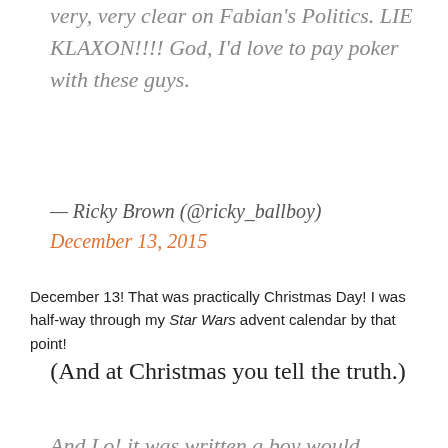very, very clear on Fabian's Politics. LIE KLAXON!!!! God, I'd love to pay poker with these guys.
— Ricky Brown (@ricky_ballboy) December 13, 2015
December 13! That was practically Christmas Day! I was half-way through my Star Wars advent calendar by that point!
(And at Christmas you tell the truth.)
And Lo! it was written a boy would